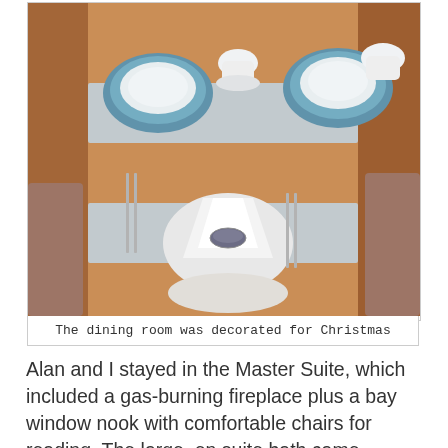[Figure (photo): A dining room table set for Christmas with blue and white china plates, folded white napkins with a napkin ring, silverware, and cups on a wooden table viewed from above.]
The dining room was decorated for Christmas
Alan and I stayed in the Master Suite, which included a gas-burning fireplace plus a bay window nook with comfortable chairs for reading. The large, en suite bath came equipped with heated towel racks and every convenience. Of course, I appreciated the free wireless internet.
In the afternoons, Val and Wayne host complementary aperitifs and appetizers in the